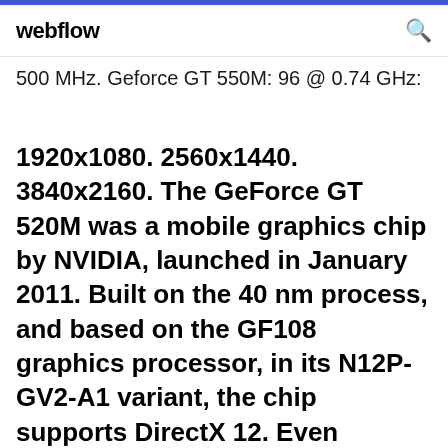webflow
500 MHz. GeForce GT 550M: 96 @ 0.74 GHz:
1920x1080. 2560x1440. 3840x2160. The GeForce GT 520M was a mobile graphics chip by NVIDIA, launched in January 2011. Built on the 40 nm process, and based on the GF108 graphics processor, in its N12P-GV2-A1 variant, the chip supports DirectX 12. Even though it supports DirectX 12, the feature